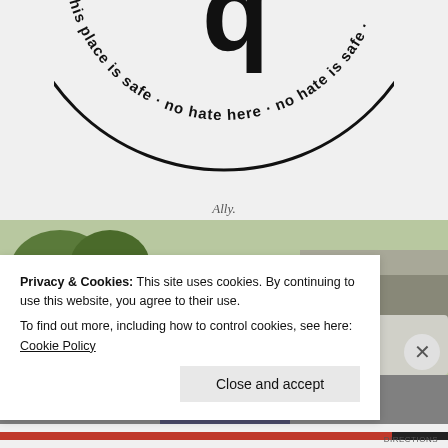[Figure (illustration): Circular logo/sticker with text curving around the edge reading 'this place is safe · no hate here · no hate is safe ·' with a large letter Q or similar symbol in the center. The text and circle are shown partially cropped, viewed from below so the text appears upside-down/mirrored.]
Ally.
[Figure (photo): Outdoor photograph of a young person with curly dark hair standing in a parking lot area with trees, vehicles, and buildings visible in the background.]
Privacy & Cookies: This site uses cookies. By continuing to use this website, you agree to their use.
To find out more, including how to control cookies, see here: Cookie Policy
Close and accept